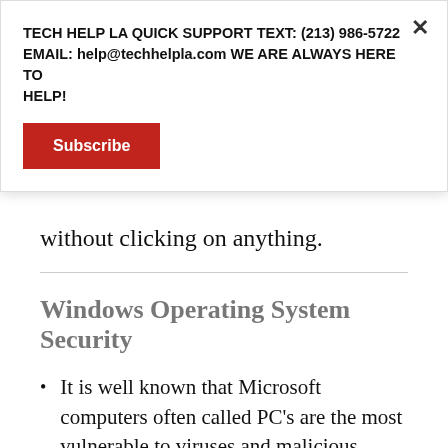TECH HELP LA QUICK SUPPORT TEXT: (213) 986-5722 EMAIL: help@techhelpla.com WE ARE ALWAYS HERE TO HELP!
Subscribe
without clicking on anything.
Windows Operating System Security
It is well known that Microsoft computers often called PC's are the most vulnerable to viruses and malicious hacks.
Microsoft's latest computer operating...